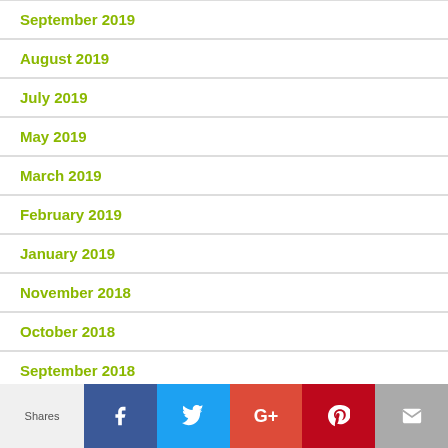September 2019
August 2019
July 2019
May 2019
March 2019
February 2019
January 2019
November 2018
October 2018
September 2018
[Figure (infographic): Social sharing bar with Shares label and buttons for Facebook, Twitter, Google+, Pinterest, and Email]